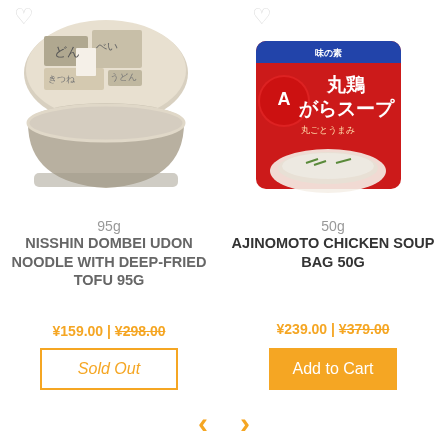[Figure (photo): Nisshin Dombei Udon Noodle product - cup noodle with Japanese text on lid]
[Figure (photo): Ajinomoto Chicken Soup Bag 50g - red packaging with Japanese text]
95g
NISSHIN DOMBEI UDON NOODLE WITH DEEP-FRIED TOFU 95G
¥159.00 | ¥298.00
Sold Out
50g
AJINOMOTO CHICKEN SOUP BAG 50G
¥239.00 | ¥379.00
Add to Cart